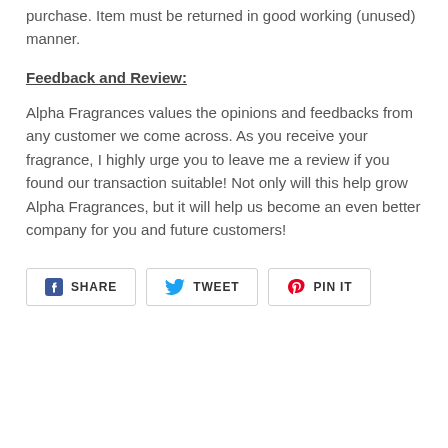purchase. Item must be returned in good working (unused) manner.
Feedback and Review:
Alpha Fragrances values the opinions and feedbacks from any customer we come across. As you receive your fragrance, I highly urge you to leave me a review if you found our transaction suitable! Not only will this help grow Alpha Fragrances, but it will help us become an even better company for you and future customers!
[Figure (other): Social sharing buttons: SHARE (Facebook), TWEET (Twitter), PIN IT (Pinterest)]